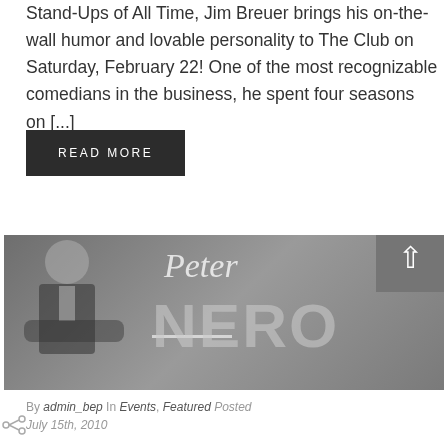Stand-Ups of All Time, Jim Breuer brings his on-the-wall humor and lovable personality to The Club on Saturday, February 22! One of the most recognizable comedians in the business, he spent four seasons on [...]
READ MORE
[Figure (photo): Promotional banner for Peter Nero featuring a man in a tuxedo on the left side and large text 'Peter NERO' on the right against a grey background]
By admin_bep In Events, Featured Posted July 15th, 2010